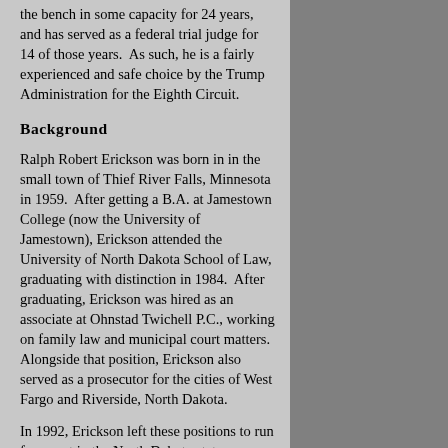the bench in some capacity for 24 years, and has served as a federal trial judge for 14 of those years. As such, he is a fairly experienced and safe choice by the Trump Administration for the Eighth Circuit.
Background
Ralph Robert Erickson was born in in the small town of Thief River Falls, Minnesota in 1959. After getting a B.A. at Jamestown College (now the University of Jamestown), Erickson attended the University of North Dakota School of Law, graduating with distinction in 1984. After graduating, Erickson was hired as an associate at Ohnstad Twichell P.C., working on family law and municipal court matters. Alongside that position, Erickson also served as a prosecutor for the cities of West Fargo and Riverside, North Dakota.
In 1992, Erickson left these positions to run for a seat in the North Dakota state legislature while setting up a private practice. Erickson lost the race for a seat in the North Dakota House of Representatives, but was